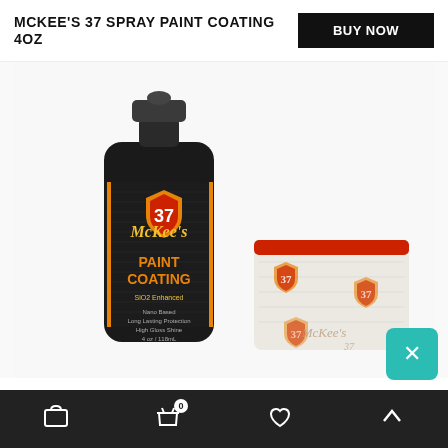MCKEE'S 37 SPRAY PAINT COATING 4OZ
BUY NOW
USD $
[Figure (photo): McKee's 37 Spray Paint Coating 4oz black spray bottle with orange and gold label showing 'Paint Coating' text, alongside a white foam applicator sponge with red edge and McKee's 37 logo prints, on white background]
Navigation bar with cart icon, basket with 0 count, heart/wishlist icon, and up arrow icon